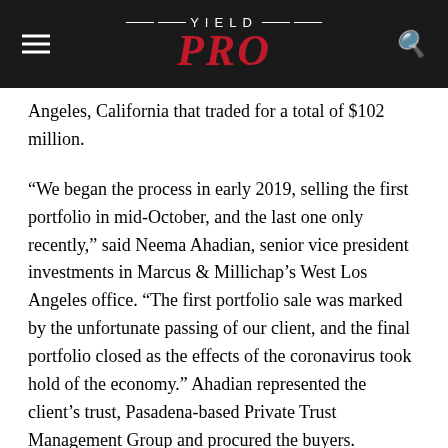YIELD PRO
Angeles, California that traded for a total of $102 million.
“We began the process in early 2019, selling the first portfolio in mid-October, and the last one only recently,” said Neema Ahadian, senior vice president investments in Marcus & Millichap’s West Los Angeles office. “The first portfolio sale was marked by the unfortunate passing of our client, and the final portfolio closed as the effects of the coronavirus took hold of the economy.” Ahadian represented the client’s trust, Pasadena-based Private Trust Management Group and procured the buyers.
“The completion of this multi-portfolio sale is a testament to our brokerage and the advisory skills of Neema and his team,” stated Adam Christofferson, senior vice president and